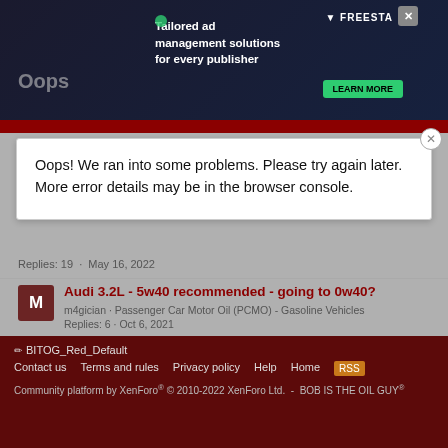[Figure (screenshot): Advertisement banner with dark background. Text reads 'Tailored ad management solutions for every publisher'. Shows FREESTA logo with Learn More button. Animated character graphic visible.]
Oops! We ran into some problems. Please try again later. More error details may be in the browser console.
Replies: 19 · May 16, 2022
Audi 3.2L - 5w40 recommended - going to 0w40?
m4gician · Passenger Car Motor Oil (PCMO) - Gasoline Vehicles
Replies: 6 · Oct 6, 2021
Share:
< Passenger Car Motor Oil (PCMO) - Gasoline Vehicles
BITOG_Red_Default
Contact us  Terms and rules  Privacy policy  Help  Home
Community platform by XenForo® © 2010-2022 XenForo Ltd.  -  BOB IS THE OIL GUY®